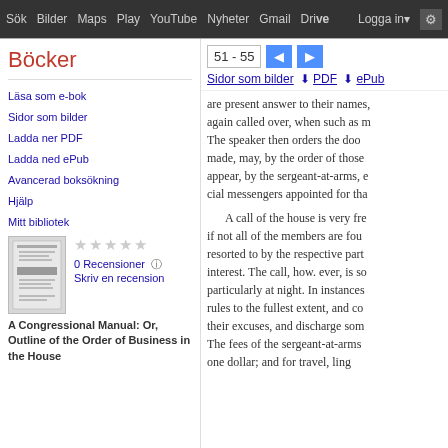Sök  Bilder  Maps  Play  YouTube  Nyheter  Gmail  Drive  Mer  Logga in  ⚙
Böcker
Läsa som e-bok
Sidor som bilder
Ladda ner PDF
Ladda ned ePub
Avancerad boksökning
Hjälp
Mitt bibliotek
[Figure (illustration): Book cover thumbnail for A Congressional Manual]
0 Recensioner
Skriv en recension
A Congressional Manual: Or, Outline of the Order of Business in the House
51 - 55
Sidor som bilder   ↓ PDF   ↓ ePub
are present answer to their names, again called over, when such as m The speaker then orders the door made, may, by the order of those appear, by the sergeant-at-arms, e cial messengers appointed for tha A call of the house is very fre if not all of the members are fou resorted to by the respective part interest. The call, how. ever, is so particularly at night. In instances rules to the fullest extent, and co their excuses, and discharge som The fees of the sergeant-at-arms one dollar; and for travel, ling